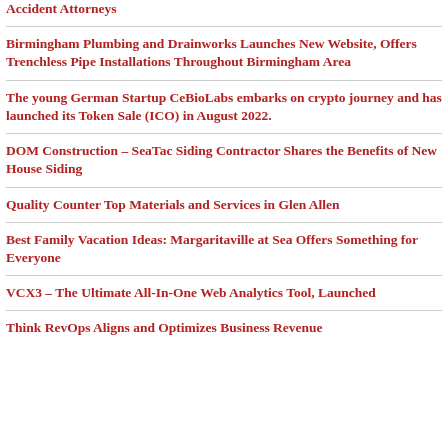Accident Attorneys
Birmingham Plumbing and Drainworks Launches New Website, Offers Trenchless Pipe Installations Throughout Birmingham Area
The young German Startup CeBioLabs embarks on crypto journey and has launched its Token Sale (ICO) in August 2022.
DOM Construction – SeaTac Siding Contractor Shares the Benefits of New House Siding
Quality Counter Top Materials and Services in Glen Allen
Best Family Vacation Ideas: Margaritaville at Sea Offers Something for Everyone
VCX3 – The Ultimate All-In-One Web Analytics Tool, Launched
Think RevOps Aligns and Optimizes Business Revenue